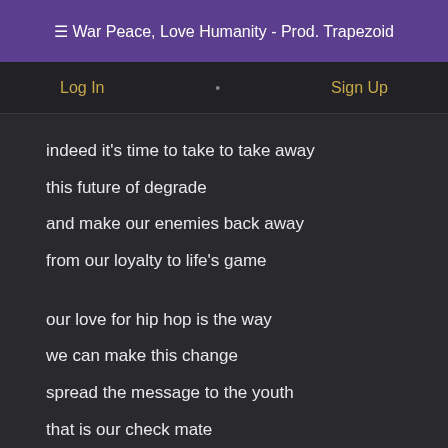☰ War Peace, Love Humanity - Prod. Trapezoid
Log In · Sign Up
indeed it's time to take to take away
this future of degrade
and make our enemies back away
from our loyalty to life's game
our love for hip hop is the way
we can make this change
spread the message to the youth
that is our check mate